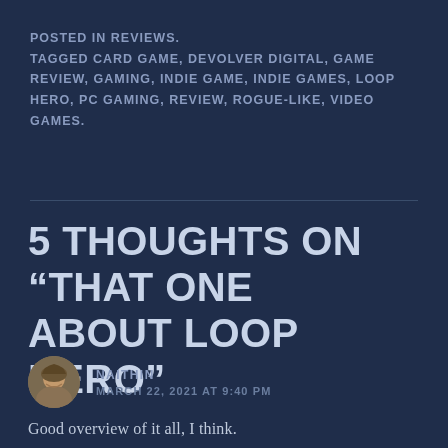POSTED IN REVIEWS.
TAGGED CARD GAME, DEVOLVER DIGITAL, GAME REVIEW, GAMING, INDIE GAME, INDIE GAMES, LOOP HERO, PC GAMING, REVIEW, ROGUE-LIKE, VIDEO GAMES.
5 THOUGHTS ON “THAT ONE ABOUT LOOP HERO”
NAITHIN
MARCH 22, 2021 AT 9:40 PM
Good overview of it all, I think.